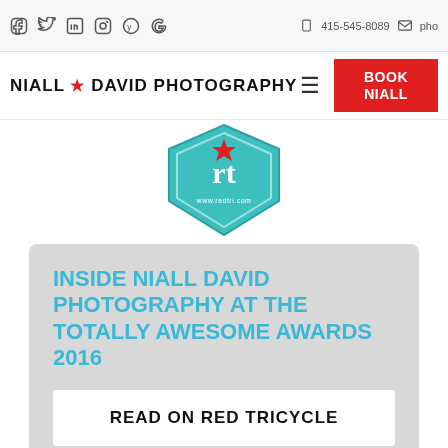415-545-8089
[Figure (logo): Niall David Photography logo with navigation bar including hamburger menu and red BOOK NIALL button]
[Figure (illustration): Red Tricycle teal/cyan badge award logo with www.redtri.com text]
INSIDE NIALL DAVID PHOTOGRAPHY AT THE TOTALLY AWESOME AWARDS 2016
READ ON RED TRICYCLE
Working with families and children isn't something Niall takes lightly. As a new father of a beautiful one-year old